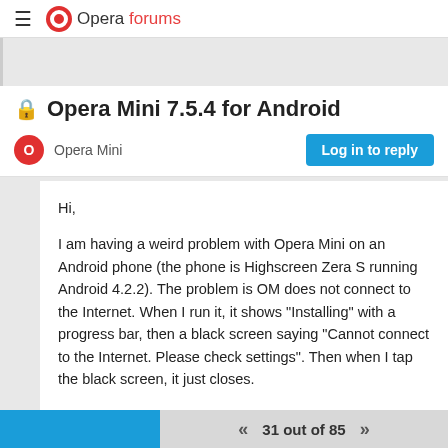Opera forums
Opera Mini 7.5.4 for Android
Opera Mini
Hi,

I am having a weird problem with Opera Mini on an Android phone (the phone is Highscreen Zera S running Android 4.2.2). The problem is OM does not connect to the Internet. When I run it, it shows "Installing" with a progress bar, then a black screen saying "Cannot connect to the Internet. Please check settings". Then when I tap the black screen, it just closes.

I tried the following:
31 out of 85